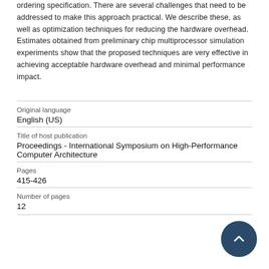ordering specification. There are several challenges that need to be addressed to make this approach practical. We describe these, as well as optimization techniques for reducing the hardware overhead. Estimates obtained from preliminary chip multiprocessor simulation experiments show that the proposed techniques are very effective in achieving acceptable hardware overhead and minimal performance impact.
| Original language | English (US) |
| Title of host publication | Proceedings - International Symposium on High-Performance Computer Architecture |
| Pages | 415-426 |
| Number of pages | 12 |